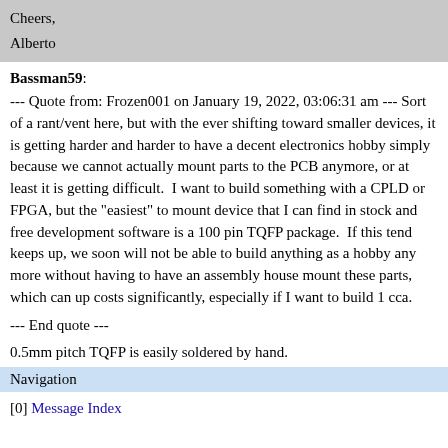Cheers,

Alberto
Bassman59:
--- Quote from: Frozen001 on January 19, 2022, 03:06:31 am --- Sort of a rant/vent here, but with the ever shifting toward smaller devices, it is getting harder and harder to have a decent electronics hobby simply because we cannot actually mount parts to the PCB anymore, or at least it is getting difficult.  I want to build something with a CPLD or FPGA, but the "easiest" to mount device that I can find in stock and free development software is a 100 pin TQFP package.  If this tend keeps up, we soon will not be able to build anything as a hobby any more without having to have an assembly house mount these parts, which can up costs significantly, especially if I want to build 1 cca.

--- End quote ---
0.5mm pitch TQFP is easily soldered by hand.
Navigation
[0] Message Index